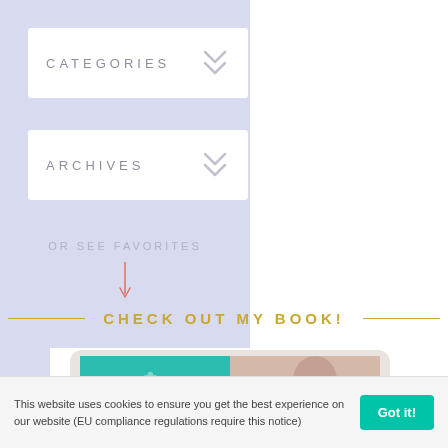CATEGORIES
ARCHIVES
OR SEE FAVORITES
CHECK OUT MY BOOK!
[Figure (screenshot): A tablet device showing a book cover titled 'Blog Beautiful' with a woman and teal background]
This website uses cookies to ensure you get the best experience on our website (EU compliance regulations require this notice)
Got it!